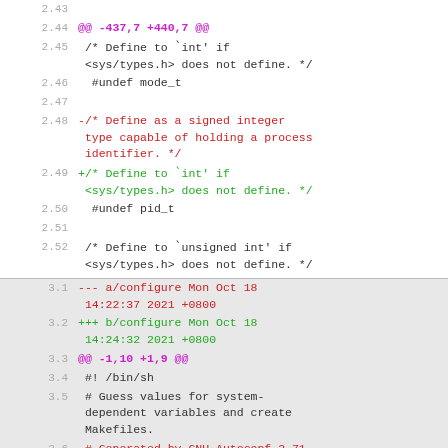2.43 (blank line)
2.44 @@ -437,7 +440,7 @@
2.45  /* Define to `int' if <sys/types.h> does not define. */
2.46   #undef mode_t
2.47 (blank)
2.48 -/* Define as a signed integer type capable of holding a process identifier. */
2.49 +/* Define to `int' if <sys/types.h> does not define. */
2.50  #undef pid_t
2.51 (blank)
2.52  /* Define to `unsigned int' if <sys/types.h> does not define. */
3.1 --- a/configure Mon Oct 18 14:22:37 2021 +0800
3.2 +++ b/configure Mon Oct 18 14:24:32 2021 +0800
3.3 @@ -1,10 +1,9 @@
3.4  #! /bin/sh
3.5  # Guess values for system-dependent variables and create Makefiles.
3.6 -# Generated by GNU Autoconf 2.71.
3.7 +# Generated by GNU Autoconf 2.69.
3.8  #
3.9  #
3.10 -# Copyright (C) 1992-1996, 1998-